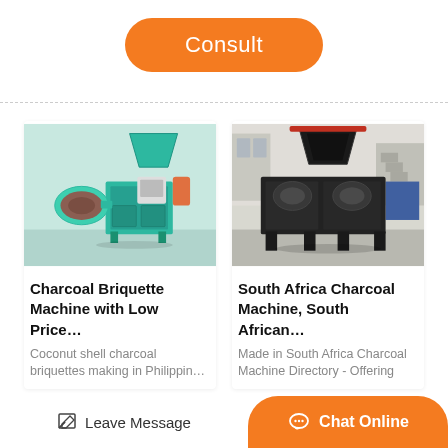Consult
[Figure (photo): Green charcoal briquette machine in industrial setting]
Charcoal Briquette Machine with Low Price...
Coconut shell charcoal briquettes making in Philippin…
[Figure (photo): Black South Africa charcoal machine in factory setting]
South Africa Charcoal Machine, South African...
Made in South Africa Charcoal Machine Directory - Offering
Leave Message
Chat Online